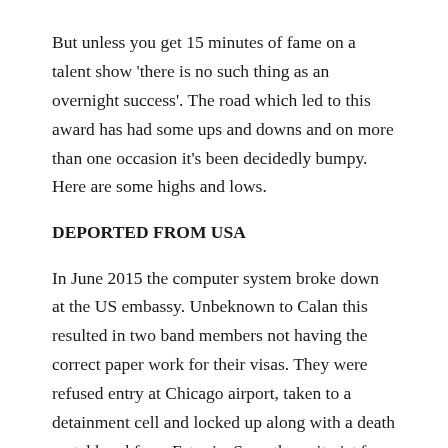But unless you get 15 minutes of fame on a talent show 'there is no such thing as an overnight success'. The road which led to this award has had some ups and downs and on more than one occasion it's been decidedly bumpy. Here are some highs and lows.
DEPORTED FROM USA
In June 2015 the computer system broke down at the US embassy. Unbeknown to Calan this resulted in two band members not having the correct paper work for their visas. They were refused entry at Chicago airport, taken to a detainment cell and locked up along with a death metal band from Estonia. Sam, the guitarist from Calan said 'It's a pity we all weren't allowed our instruments in the cell we could have created one hell of a fusion'.